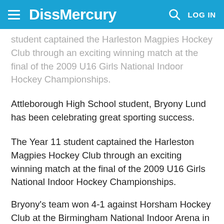DissMercury
student captained the Harleston Magpies Hockey Club through an exciting winning match at the final of the 2009 U16 Girls National Indoor Hockey Championships.
Attleborough High School student, Bryony Lund has been celebrating great sporting success.
The Year 11 student captained the Harleston Magpies Hockey Club through an exciting winning match at the final of the 2009 U16 Girls National Indoor Hockey Championships.
Bryony's team won 4-1 against Horsham Hockey Club at the Birmingham National Indoor Arena in front of an enormous and enthusiastic crowd.